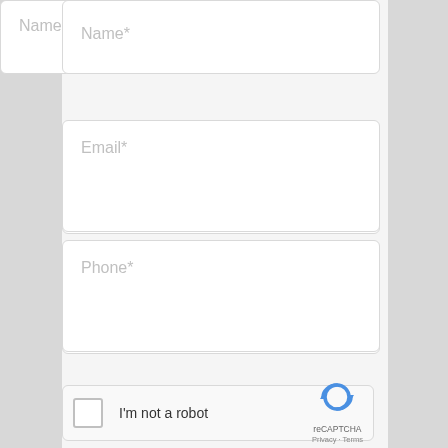Name*
Email*
Phone*
Tell us about your service needs.
I'm not a robot
[Figure (other): reCAPTCHA logo with circular arrows icon and Privacy · Terms links]